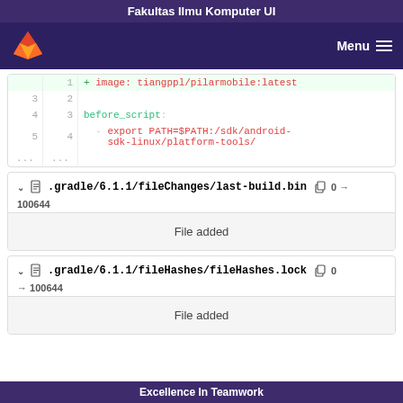Fakultas Ilmu Komputer UI
[Figure (screenshot): GitLab navigation bar with fox logo and Menu button]
[Figure (screenshot): Code diff showing image: tiangppl/pilarmobile:latest and before_script export PATH=$PATH:/sdk/android-sdk-linux/platform-tools/]
.gradle/6.1.1/fileChanges/last-build.bin  0 → 100644
File added
.gradle/6.1.1/fileHashes/fileHashes.lock  0 → 100644
File added
Excellence In Teamwork